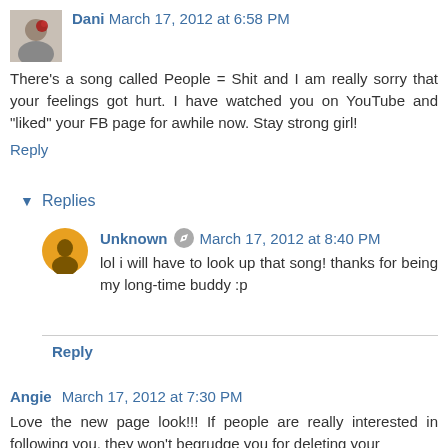Dani  March 17, 2012 at 6:58 PM
There's a song called People = Shit and I am really sorry that your feelings got hurt. I have watched you on YouTube and "liked" your FB page for awhile now. Stay strong girl!
Reply
▼ Replies
Unknown  March 17, 2012 at 8:40 PM
lol i will have to look up that song! thanks for being my long-time buddy :p
Reply
Angie  March 17, 2012 at 7:30 PM
Love the new page look!!! If people are really interested in following you, they won't begrudge you for deleting your